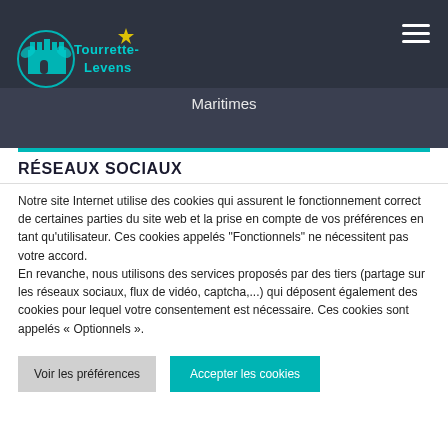[Figure (logo): Tourrette-Levens municipality logo with teal castle/butterfly design and stylized text]
Maritimes
RÉSEAUX SOCIAUX
Notre site Internet utilise des cookies qui assurent le fonctionnement correct de certaines parties du site web et la prise en compte de vos préférences en tant qu'utilisateur. Ces cookies appelés "Fonctionnels" ne nécessitent pas votre accord.
En revanche, nous utilisons des services proposés par des tiers (partage sur les réseaux sociaux, flux de vidéo, captcha,...) qui déposent également des cookies pour lequel votre consentement est nécessaire. Ces cookies sont appelés « Optionnels ».
Voir les préférences
Accepter les cookies